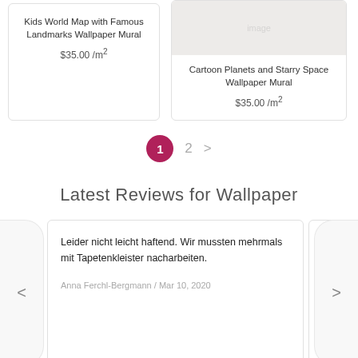Kids World Map with Famous Landmarks Wallpaper Mural
$35.00 /m²
[Figure (photo): Partial view of Cartoon Planets and Starry Space Wallpaper Mural product image]
Cartoon Planets and Starry Space Wallpaper Mural
$35.00 /m²
1  2  >
Latest Reviews for Wallpaper
Leider nicht leicht haftend. Wir mussten mehrmals mit Tapetenkleister nacharbeiten.
Anna Ferchl-Bergmann / Mar 10, 2020
Hun com cons and Laur